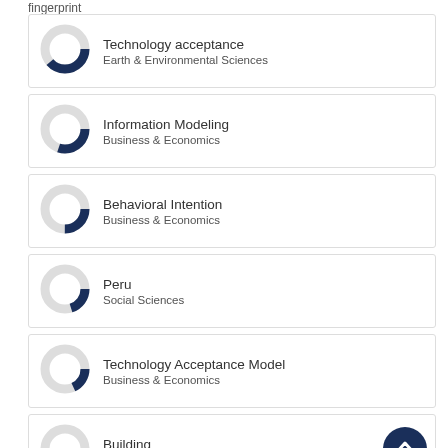fingerprint
[Figure (donut-chart): Donut chart approximately 65% filled, dark navy blue, for Technology acceptance]
Technology acceptance
Earth & Environmental Sciences
[Figure (donut-chart): Donut chart approximately 55% filled, dark navy blue, for Information Modeling]
Information Modeling
Business & Economics
[Figure (donut-chart): Donut chart approximately 50% filled, dark navy blue, for Behavioral Intention]
Behavioral Intention
Business & Economics
[Figure (donut-chart): Donut chart approximately 45% filled, dark navy blue, for Peru]
Peru
Social Sciences
[Figure (donut-chart): Donut chart approximately 43% filled, dark navy blue, for Technology Acceptance Model]
Technology Acceptance Model
Business & Economics
[Figure (donut-chart): Donut chart approximately 40% filled, dark navy blue, for Building]
Building
Social Sciences